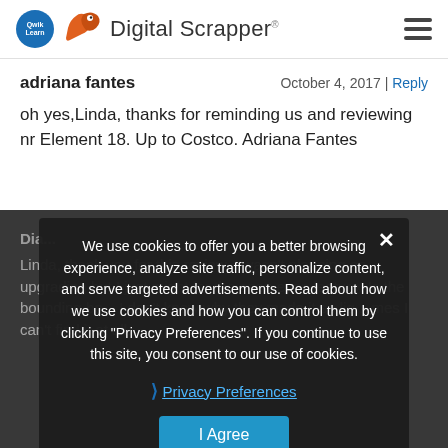Digital Scrapper
adriana fantes
October 4, 2017 | Reply
oh yes,Linda, thanks for reminding us and reviewing nr Element 18. Up to Costco. Adriana Fantes
We use cookies to offer you a better browsing experience, analyze site traffic, personalize content, and serve targeted advertisements. Read about how we use cookies and how you can control them by clicking "Privacy Preferences". If you continue to use this site, you consent to our use of cookies.
Privacy Preferences
I Agree